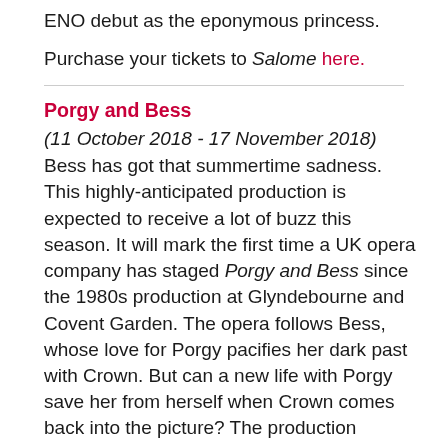ENO debut as the eponymous princess.
Purchase your tickets to Salome here.
Porgy and Bess
(11 October 2018 - 17 November 2018)
Bess has got that summertime sadness. This highly-anticipated production is expected to receive a lot of buzz this season. It will mark the first time a UK opera company has staged Porgy and Bess since the 1980s production at Glyndebourne and Covent Garden. The opera follows Bess, whose love for Porgy pacifies her dark past with Crown. But can a new life with Porgy save her from herself when Crown comes back into the picture? The production includes such fantastic melodies as 'Summertime' and 'I Loves You, Porgy', among many others.